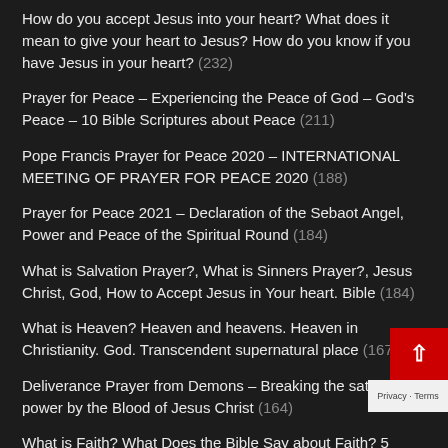How do you accept Jesus into your heart? What does it mean to give your heart to Jesus? How do you know if you have Jesus in your heart? (232)
Prayer for Peace – Experiencing the Peace of God – God's Peace – 10 Bible Scriptures about Peace (211)
Pope Francis Prayer for Peace 2020 – INTERNATIONAL MEETING OF PRAYER FOR PEACE 2020 (188)
Prayer for Peace 2021 – Declaration of the Sebaot Angel, Power and Peace of the Spiritual Round (184)
What is Salvation Prayer?, What is Sinners Prayer?, Jesus Christ, God, How to Accept Jesus in Your heart. Bible (184)
What is Heaven? Heaven and heavens. Heaven in Christianity. God. Transcendent supernatural place (167)
Deliverance Prayer from Demons – Breaking the satanic power by the Blood of Jesus Christ (164)
What is Faith? What Does the Bible Say about Faith? 5 Bible